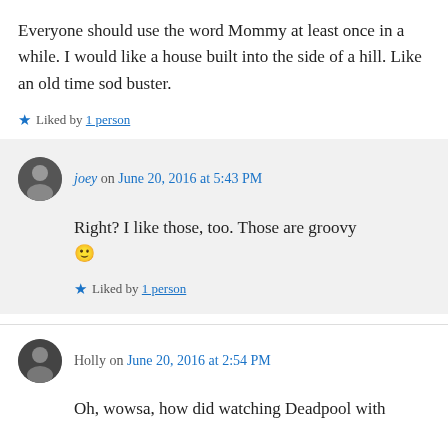Everyone should use the word Mommy at least once in a while. I would like a house built into the side of a hill. Like an old time sod buster.
★ Liked by 1 person
joey on June 20, 2016 at 5:43 PM
Right? I like those, too. Those are groovy 🙂
★ Liked by 1 person
Holly on June 20, 2016 at 2:54 PM
Oh, wowsa, how did watching Deadpool with your mom go? 😀